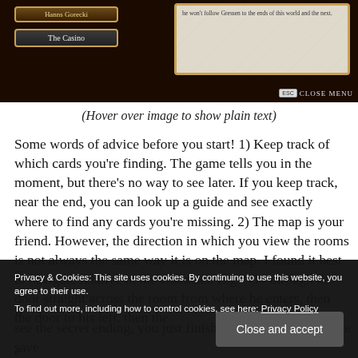[Figure (screenshot): Game UI screenshot showing character name 'Hanns Gorecki', location button 'The Casino', and a dialogue/letter panel on right side with ornate border. ESC Close Menu button visible at bottom right of game panel.]
(Hover over image to show plain text)
Some words of advice before you start! 1) Keep track of which cards you're finding. The game tells you in the moment, but there's no way to see later. If you keep track, near the end, you can look up a guide and see exactly where to find any cards you're missing. 2) The map is your friend. However, the direction in which you view the rooms is not always the same way it is on the map. I found it best to navigate relative to the character. E.g. "Go through the door straight across the room from where he enters, then the door to his left, then the s
It e g it
see the secret ending, you just finish the game, then load the save
Privacy & Cookies: This site uses cookies. By continuing to use this website, you agree to their use.
To find out more, including how to control cookies, see here: Privacy Policy
Close and accept